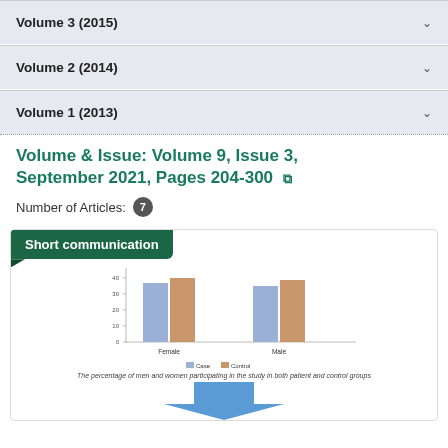Volume 3 (2015)
Volume 2 (2014)
Volume 1 (2013)
Volume & Issue: Volume 9, Issue 3, September 2021, Pages 204-300
Number of Articles: 7
Short communication
[Figure (grouped-bar-chart): The percentage of men and women participating in the study in both patient and control groups]
The percentage of men and women participating in the study in both patient and control groups